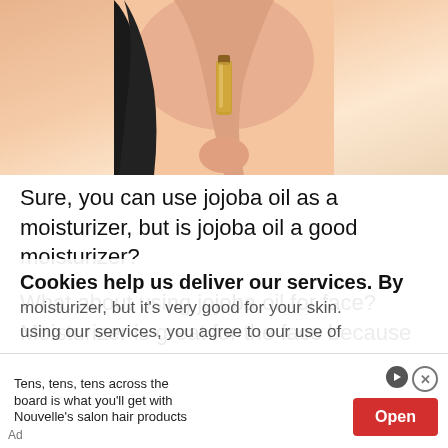[Figure (photo): Woman applying or holding a small bottle of jojoba oil against her shoulder/arm. Background is a warm peach/skin tone color.]
Sure, you can use jojoba oil as a moisturizer, but is jojoba oil a good moisturizer?
What about using jojoba oil for face? Moisturizer is great for the face because the skin needs nourishment. Jojoba oil is the perfect solution.
Not only can you use jojoba oil as a moisturizer, but it's very good for your skin.
Cookies help us deliver our services. By using our services, you agree to our use of
Tens, tens, tens across the board is what you'll get with Nouvelle's salon hair products